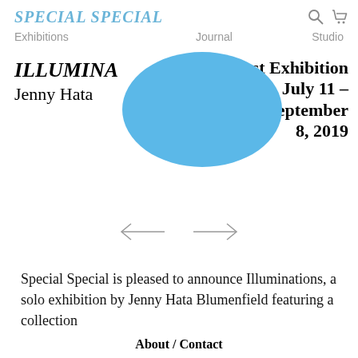SPECIAL SPECIAL   Exhibitions   Journal   Studio
ILLUMINATIONS
Jenny Hata Blumenfield
Past Exhibition
July 11 – September 8, 2019
[Figure (illustration): Blue ellipse/blob shape overlapping the title text]
[Figure (other): Left and right navigation arrows (← →)]
Special Special is pleased to announce Illuminations, a solo exhibition by Jenny Hata Blumenfield featuring a collection
About / Contact